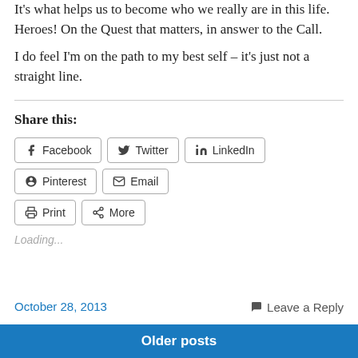It's what helps us to become who we really are in this life. Heroes! On the Quest that matters, in answer to the Call.
I do feel I'm on the path to my best self – it's just not a straight line.
Share this:
Facebook  Twitter  LinkedIn  Pinterest  Email  Print  More
Loading...
October 28, 2013    Leave a Reply
Older posts